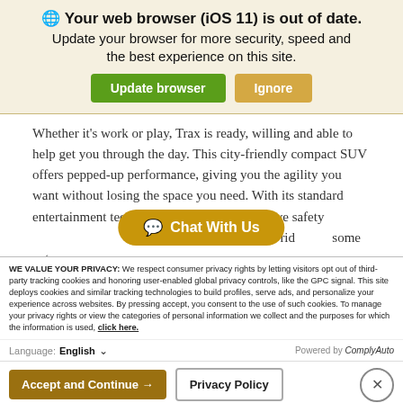🌐 Your web browser (iOS 11) is out of date. Update your browser for more security, speed and the best experience on this site.
[Figure (screenshot): Two buttons: green 'Update browser' and tan 'Ignore']
Whether it's work or play, Trax is ready, willing and able to help get you through the day. This city-friendly compact SUV offers pepped-up performance, giving you the agility you want without losing the space you need. With its standard entertainment technologies and available active safety your get-up-and-go-to ride some extra
[Figure (screenshot): Gold 'Chat With Us' button overlay]
WE VALUE YOUR PRIVACY: We respect consumer privacy rights by letting visitors opt out of third-party tracking cookies and honoring user-enabled global privacy controls, like the GPC signal. This site deploys cookies and similar tracking technologies to build profiles, serve ads, and personalize your experience across websites. By pressing accept, you consent to the use of such cookies. To manage your privacy rights or view the categories of personal information we collect and the purposes for which the information is used, click here.
Language: English ∨   Powered by ComplyAuto
[Figure (screenshot): Bottom action row with 'Accept and Continue →', 'Privacy Policy', and close X buttons]